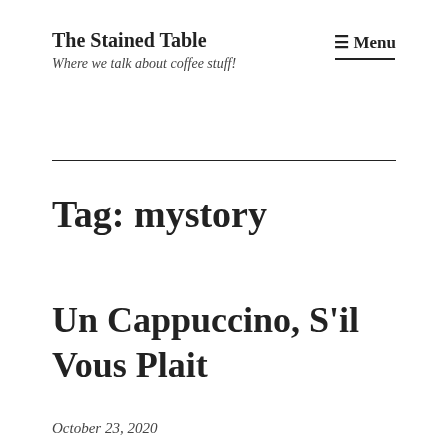The Stained Table
Where we talk about coffee stuff!
≡ Menu
Tag: mystory
Un Cappuccino, S'il Vous Plait
October 23, 2020